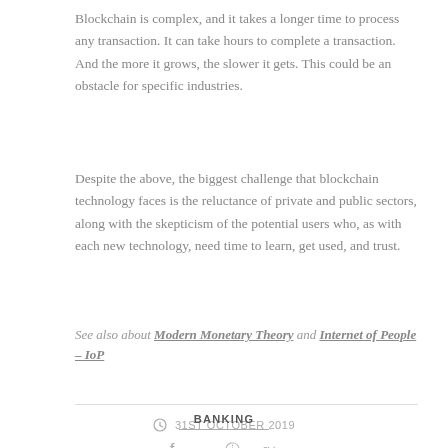Blockchain is complex, and it takes a longer time to process any transaction. It can take hours to complete a transaction. And the more it grows, the slower it gets. This could be an obstacle for specific industries.
Despite the above, the biggest challenge that blockchain technology faces is the reluctance of private and public sectors, along with the skepticism of the potential users who, as with each new technology, need time to learn, get used, and trust.
See also about Modern Monetary Theory and Internet of People – IoP
31ST OCTOBER 2019
BANKING